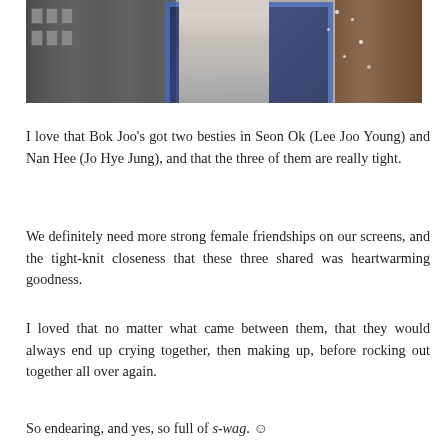[Figure (photo): A person in a white striped sweater standing in what appears to be an indoor space with lockers on the left, a blue-framed mirror/display behind them, and shelving on the right.]
I love that Bok Joo's got two besties in Seon Ok (Lee Joo Young) and Nan Hee (Jo Hye Jung), and that the three of them are really tight.
We definitely need more strong female friendships on our screens, and the tight-knit closeness that these three shared was heartwarming goodness.
I loved that no matter what came between them, that they would always end up crying together, then making up, before rocking out together all over again.
So endearing, and yes, so full of s-wag. ☺